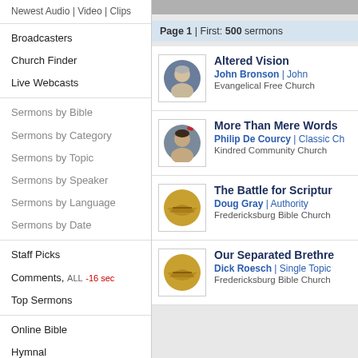Newest Audio | Video | Clips
Broadcasters
Church Finder
Live Webcasts
Sermons by Bible
Sermons by Category
Sermons by Topic
Sermons by Speaker
Sermons by Language
Sermons by Date
Staff Picks
Comments, ALL -16 sec
Top Sermons
Online Bible
Hymnal
Daily Reading
Our Services
Broadcaster Dashboard
Members Only
Page 1 | First: 500 sermons
Altered Vision
John Bronson | John
Evangelical Free Church
More Than Mere Words
Philip De Courcy | Classic Ch
Kindred Community Church
The Battle for Scripture
Doug Gray | Authority
Fredericksburg Bible Church
Our Separated Brethren
Dick Roesch | Single Topic
Fredericksburg Bible Church